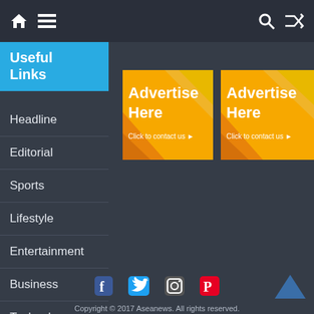Navigation bar with home icon, menu icon, search icon, shuffle icon
Useful Links
[Figure (illustration): Advertise Here banner 1 - orange/yellow geometric shapes with text 'Advertise Here' and 'Click to contact us']
[Figure (illustration): Advertise Here banner 2 - orange/yellow geometric shapes with text 'Advertise Here' and 'Click to contact us']
Headline
Editorial
Sports
Lifestyle
Entertainment
Business
Technology
Copyright © 2017 Aseanews. All rights reserved.